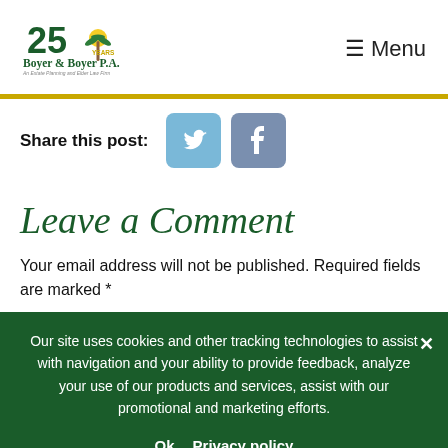Boyer & Boyer P.A. — An Estate Planning and Elder Law Firm | Menu
Share this post:
Leave a Comment
Your email address will not be published. Required fields are marked *
Our site uses cookies and other tracking technologies to assist with navigation and your ability to provide feedback, analyze your use of our products and services, assist with our promotional and marketing efforts.
Ok   Privacy policy